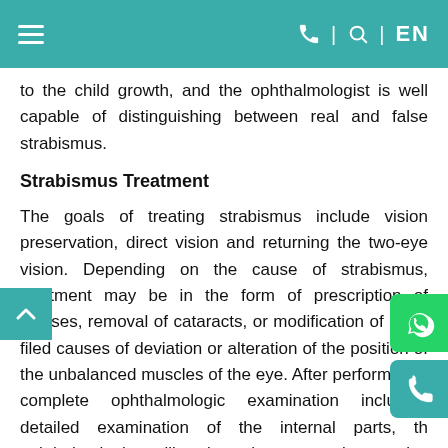≡  ☎ | ⌕ | EN
to the child growth, and the ophthalmologist is well capable of distinguishing between real and false strabismus.
Strabismus Treatment
The goals of treating strabismus include vision preservation, direct vision and returning the two-eye vision. Depending on the cause of strabismus, treatment may be in the form of prescription of glasses, removal of cataracts, or modification of other filed causes of deviation or alteration of the position of the unbalanced muscles of the eye. After performing a complete ophthalmologic examination including detailed examination of the internal parts, the ophthalmologist will select the appropriate optical medical or surgical treatment. Closing the better eye will be often necessary to strengthen the vision of the